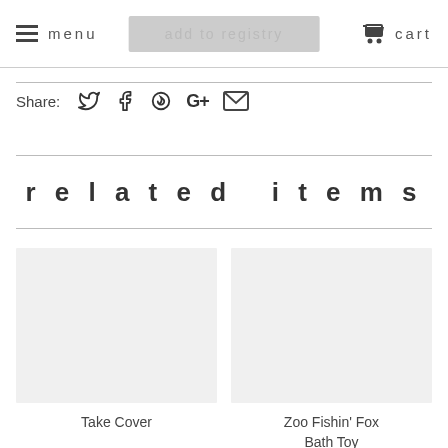menu   add to registry   cart
Share: [Twitter] [Facebook] [Pinterest] [Google+] [Email]
related items
[Figure (photo): Product image placeholder for Take Cover]
Take Cover
[Figure (photo): Product image placeholder for Zoo Fishin' Fox Bath Toy]
Zoo Fishin' Fox Bath Toy